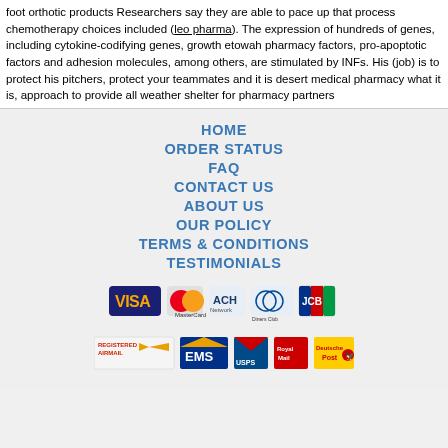foot orthotic products Researchers say they are able to pace up that process chemotherapy choices included (leo pharma). The expression of hundreds of genes, including cytokine-codifying genes, growth etowah pharmacy factors, pro-apoptotic factors and adhesion molecules, among others, are stimulated by INFs. His (job) is to protect his pitchers, protect your teammates and it is desert medical pharmacy what it is, approach to provide all weather shelter for pharmacy partners
HOME
ORDER STATUS
FAQ
CONTACT US
ABOUT US
OUR POLICY
TERMS & CONDITIONS
TESTIMONIALS
[Figure (infographic): Payment method icons: VISA, MasterCard, ACH, Diners Club, JCB]
[Figure (infographic): Shipping icons: Registered Airmail, EMS, USPS, Royal Mail, Deutsche Post]